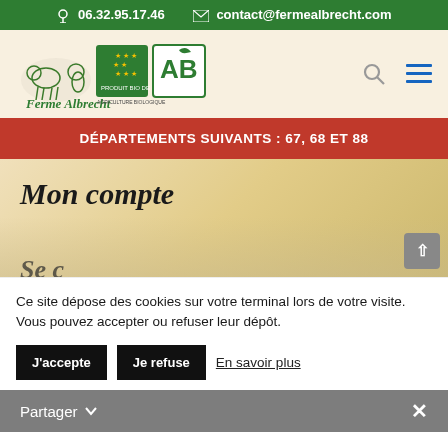06.32.95.17.46  contact@fermealbrecht.com
[Figure (logo): Ferme Albrecht logo with farm animals illustration and AB Agriculture Biologique certification badge]
DÉPARTEMENTS SUIVANTS : 67, 68 ET 88
Mon compte
Ce site dépose des cookies sur votre terminal lors de votre visite. Vous pouvez accepter ou refuser leur dépôt.
J'accepte  Je refuse  En savoir plus
Partager  ×